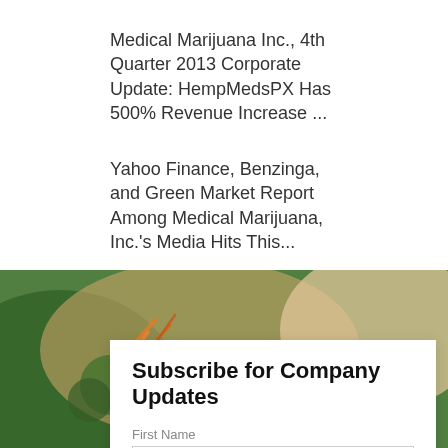Medical Marijuana Inc., 4th Quarter 2013 Corporate Update: HempMedsPX Has 500% Revenue Increase ...
Yahoo Finance, Benzinga, and Green Market Report Among Medical Marijuana, Inc.'s Media Hits This...
[Figure (photo): Close-up photograph of a cannabis bud with orange pistils, green leaves, and blurred warm background tones]
Subscribe for Company Updates
First Name